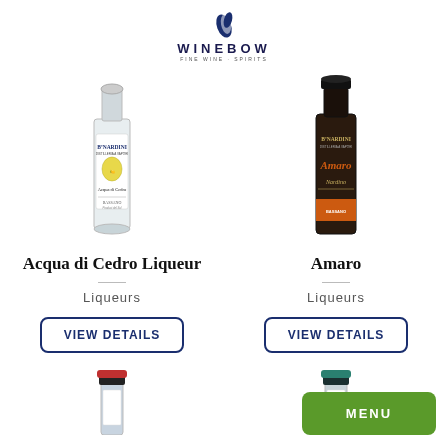[Figure (logo): Winebow logo with blue leaf/wing icon, text WINEBOW in capital letters with tagline]
[Figure (photo): Bottle of Bº Nardini Acqua di Cedro Liqueur - clear/white bottle with lemon illustration]
Acqua di Cedro Liqueur
Liqueurs
VIEW DETAILS
[Figure (photo): Bottle of Bº Nardini Amaro - dark bottle with orange label band]
Amaro
Liqueurs
VIEW DETAILS
[Figure (photo): Partial bottom of page showing tops of two more bottles, and a green MENU button]
MENU